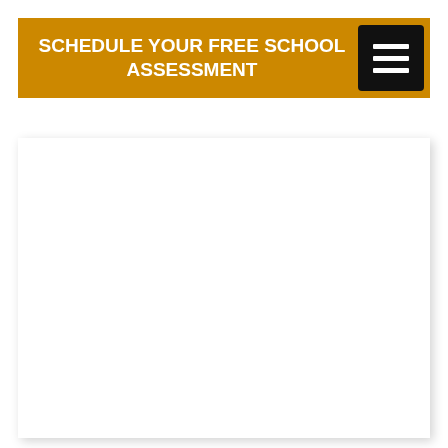SCHEDULE YOUR FREE SCHOOL ASSESSMENT
[Figure (other): White content card area with shadow, below the header bar, mostly empty white space]